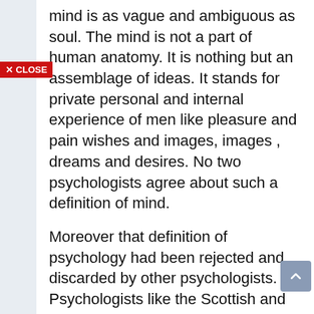mind is as vague and ambiguous as soul. The mind is not a part of human anatomy. It is nothing but an assemblage of ideas. It stands for private personal and internal experience of men like pleasure and pain wishes and images, images , dreams and desires. No two psychologists agree about such a definition of mind.
Moreover that definition of psychology had been rejected and discarded by other psychologists. Psychologists like the Scottish and McDougall could not agree with the mind definition of psychology. Sir William was put forward and another definition of psychology, psychology is the science of consciousness. But the mental life is not only conscious but also there are unconscious and subconscious mental levels. This consists of yours and subconscious Your mental levels also affect and influence the behaviour of men and animals in